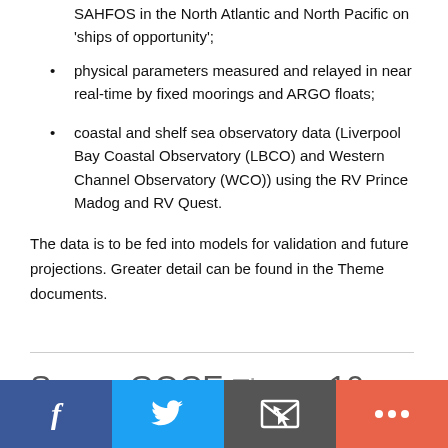SAHFOS in the North Atlantic and North Pacific on 'ships of opportunity';
physical parameters measured and relayed in near real-time by fixed moorings and ARGO floats;
coastal and shelf sea observatory data (Liverpool Bay Coastal Observatory (LBCO) and Western Channel Observatory (WCO)) using the RV Prince Madog and RV Quest.
The data is to be fed into models for validation and future projections. Greater detail can be found in the Theme documents.